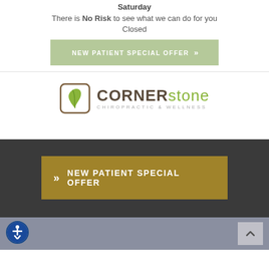Saturday
There is No Risk to see what we can do for you
Closed
NEW PATIENT SPECIAL OFFER >>
[Figure (logo): Cornerstone Chiropractic & Wellness logo with green leaf icon in a rounded square]
>> NEW PATIENT SPECIAL OFFER
[Figure (other): Accessibility icon (person in circle) and back-to-top arrow button in page footer bar]